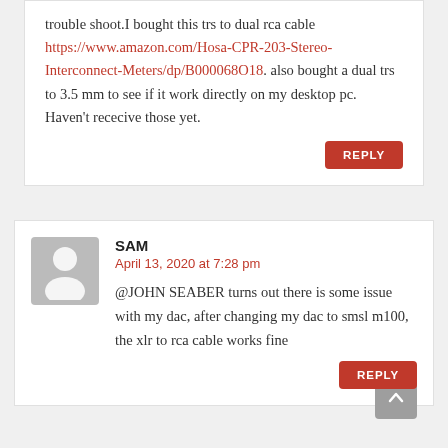trouble shoot.I bought this trs to dual rca cable https://www.amazon.com/Hosa-CPR-203-Stereo-Interconnect-Meters/dp/B000068O18. also bought a dual trs to 3.5 mm to see if it work directly on my desktop pc. Haven't rececive those yet.
REPLY
SAM
April 13, 2020 at 7:28 pm
@JOHN SEABER turns out there is some issue with my dac, after changing my dac to smsl m100, the xlr to rca cable works fine
REPLY